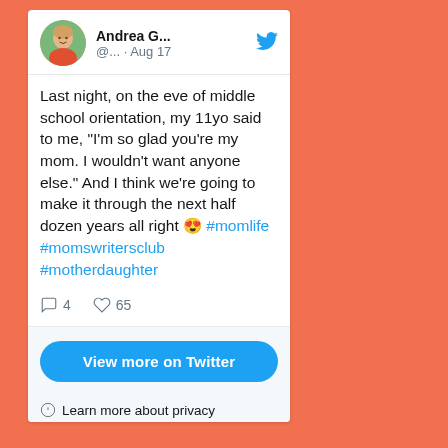[Figure (screenshot): Tweet from Andrea G. posted on Aug 17. Profile photo shows a woman with blonde hair wearing an orange top. Blue Twitter bird icon. Handle shown as @... · Aug 17.]
Last night, on the eve of middle school orientation, my 11yo said to me, "I'm so glad you're my mom. I wouldn't want anyone else." And I think we're going to make it through the next half dozen years all right 😍 #momlife #momswritersclub #motherdaughter
💬 4   ♡ 65
View more on Twitter
ⓘ Learn more about privacy